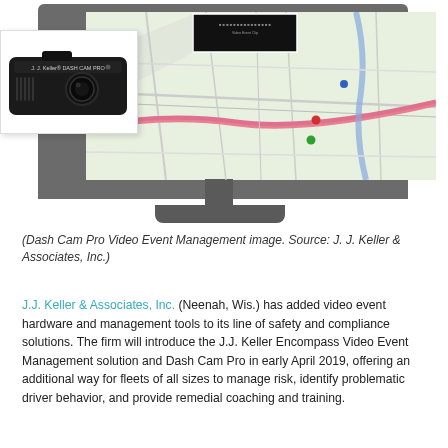[Figure (photo): J.J. Keller Dash Cam Pro device shown next to a computer monitor displaying a map-based Video Event Management interface, with a video clip popup shown above the monitor screen.]
(Dash Cam Pro Video Event Management image. Source: J. J. Keller & Associates, Inc.)
J.J. Keller & Associates, Inc. (Neenah, Wis.) has added video event hardware and management tools to its line of safety and compliance solutions. The firm will introduce the J.J. Keller Encompass Video Event Management solution and Dash Cam Pro in early April 2019, offering an additional way for fleets of all sizes to manage risk, identify problematic driver behavior, and provide remedial coaching and training.